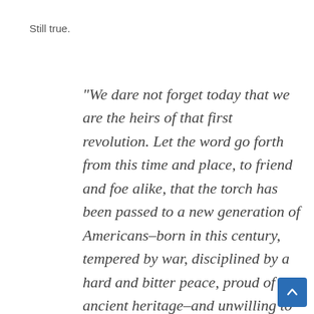Still true.
“We dare not forget today that we are the heirs of that first revolution. Let the word go forth from this time and place, to friend and foe alike, that the torch has been passed to a new generation of Americans–born in this century, tempered by war, disciplined by a hard and bitter peace, proud of our ancient heritage–and unwilling to witness or permit the slow undoing of